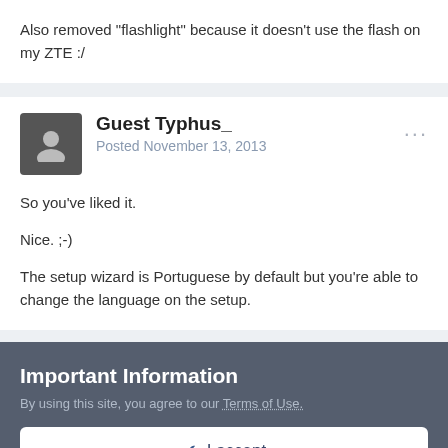Also removed "flashlight" because it doesn't use the flash on my ZTE :/
Guest Typhus_
Posted November 13, 2013
So you've liked it.

Nice. ;-)

The setup wizard is Portuguese by default but you're able to change the language on the setup.
Important Information
By using this site, you agree to our Terms of Use.
✔ I accept